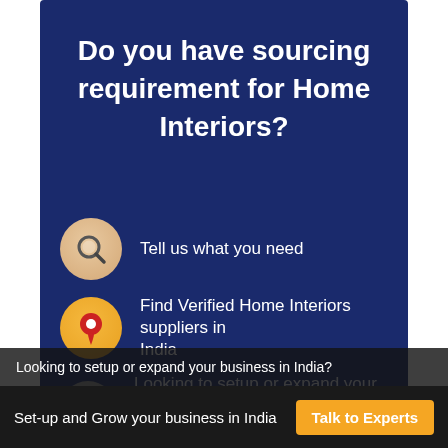Do you have sourcing requirement for Home Interiors?
Tell us what you need
Find Verified Home Interiors suppliers in India
Looking to setup or expand your business in India?
Set-up and Grow your business in India
Talk to Experts